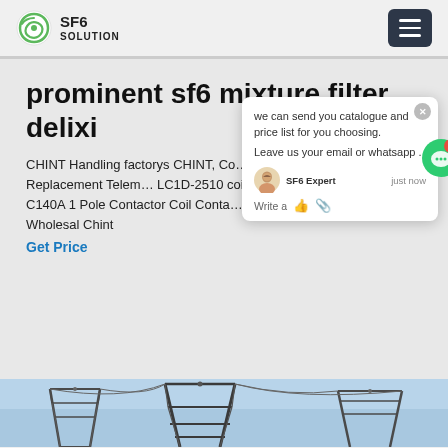SF6 SOLUTION
prominent sf6 mixture filter delixi
CHINT Handling factorys CHINT, Co... 2510, Contactor, Replacement Telem... LC1D-2510 coil 110v 2 offers from $... rd C140A 1 Pole Contactor Coil Conta... 24V Chint Meter - Factory Wholesal Chint
Get Price
[Figure (screenshot): Chat popup overlay with message: 'we can send you catalogue and price list for you choosing. Leave us your email or whatsapp.' SF6 Expert - just now. Write a [thumbs up] [paperclip]]
[Figure (photo): Photo of electrical power transmission infrastructure, showing towers, pylons and high-voltage lines against a blue sky.]